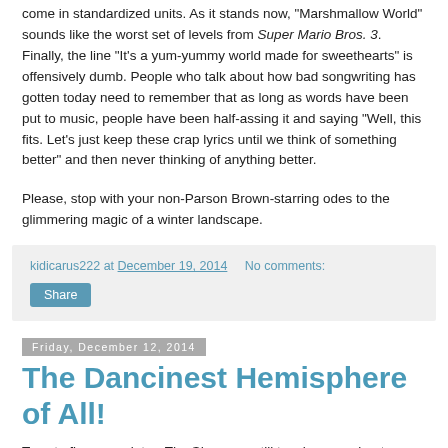come in standardized units. As it stands now, "Marshmallow World" sounds like the worst set of levels from Super Mario Bros. 3. Finally, the line "It's a yum-yummy world made for sweethearts" is offensively dumb. People who talk about how bad songwriting has gotten today need to remember that as long as words have been put to music, people have been half-assing it and saying "Well, this fits. Let's just keep these crap lyrics until we think of something better" and then never thinking of anything better.
Please, stop with your non-Parson Brown-starring odes to the glimmering magic of a winter landscape.
kidicarus222 at December 19, 2014   No comments:
Share
Friday, December 12, 2014
The Dancinest Hemisphere of All!
Twenty-five years later, The Simpsons still teaches me about